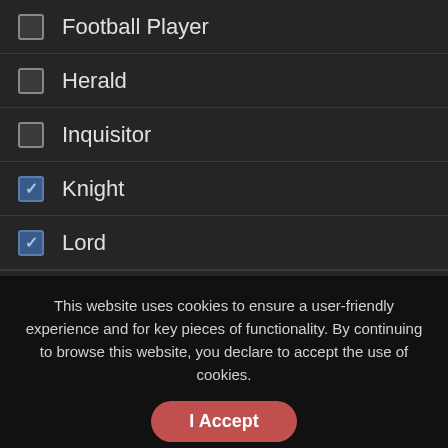Football Player
Herald
Inquisitor
Knight
Lord
Priest
Ranger
Wizard
This website uses cookies to ensure a user-friendly experience and for key pieces of functionality. By continuing to browse this website, you declare to accept the use of cookies.
I Accept